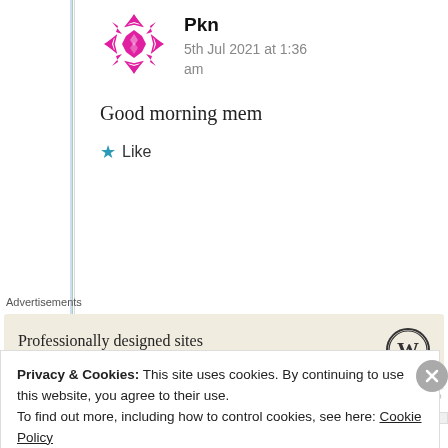[Figure (illustration): Pink/magenta geometric snowflake avatar icon for user Pkn]
Pkn
5th Jul 2021 at 1:36 am
Good morning mem
★ Like
Advertisements
[Figure (logo): WordPress logo (circle W) in advertisement box]
Professionally designed sites in less than a week
REPORT THIS AD
Privacy & Cookies: This site uses cookies. By continuing to use this website, you agree to their use.
To find out more, including how to control cookies, see here: Cookie Policy
Close and accept